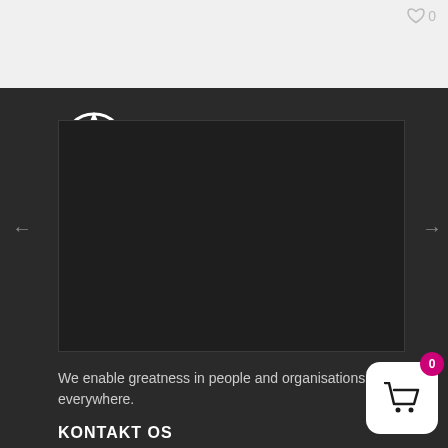0
[Figure (logo): FranklinCovey logo with compass/crosshair icon and tagline '– ÞITT FORSKOT TIL FRAMTÍÐAR' on dark background]
We enable greatness in people and organisations everywhere.
KONTAKT OS